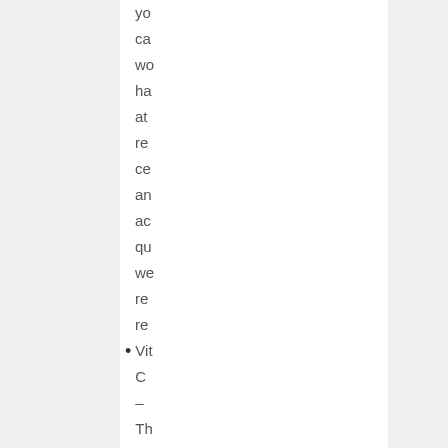you can work have at re ce and ac qu we re re
Vitamin C – This is an available ele fo